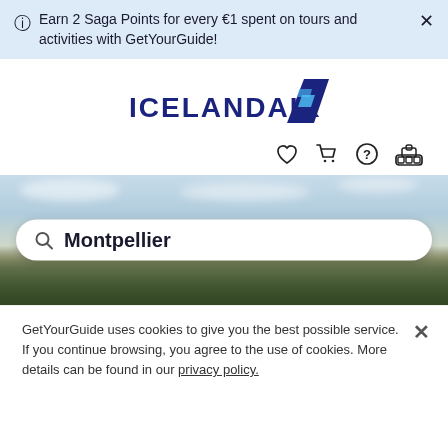Earn 2 Saga Points for every €1 spent on tours and activities with GetYourGuide!
[Figure (logo): Icelandair logo with stylized blue tail fin]
[Figure (screenshot): Navigation icons: heart (wishlist), shopping cart, help/question mark, account/person]
[Figure (photo): Aerial photo of Montpellier cityscape with buildings and trees, with a search bar overlay showing 'Montpellier']
GetYourGuide uses cookies to give you the best possible service. If you continue browsing, you agree to the use of cookies. More details can be found in our privacy policy.